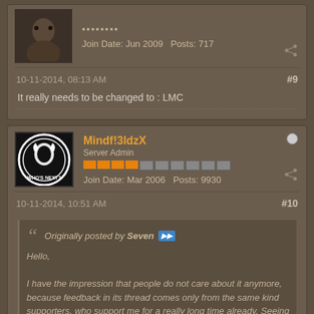Join Date: Jun 2009   Posts: 717
10-11-2014, 08:13 AM
#9
It really needs to be changed to : LMC
[Figure (photo): User avatar - person image]
Mindf!3ldzX
Server Admin
Join Date: Mar 2006   Posts: 9930
10-11-2014, 10:51 AM
#10
Originally posted by Seven
Hello,

I have the impression that people do not care about it anymore, because feedback in its thread comes only from the same kind supporters, who support me for a really long time already. Seeing screenshots of it in many other subforums/threads from other people/users, but no feedback or any other reaction in the mod's thread from those people/users makes me start wondering.